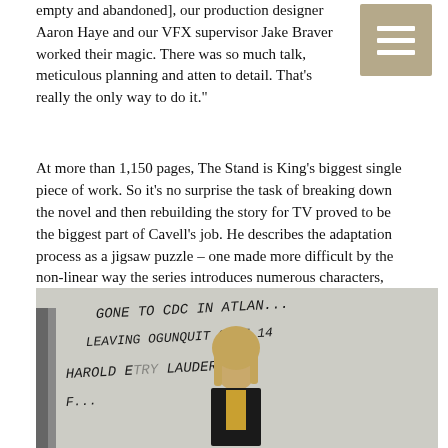empty and abandoned], our production designer Aaron Haye and our VFX supervisor Jake Braver worked their magic. There was so much talk, meticulous planning and attention to detail. That’s really the only way to do it.”
At more than 1,150 pages, The Stand is King’s biggest single piece of work. So it’s no surprise the task of breaking down the novel and then rebuilding the story for TV proved to be the biggest part of Cavell’s job. He describes the adaptation process as a jigsaw puzzle – one made more difficult by the non-linear way the series introduces numerous characters, who then all collide around the mid-section.
[Figure (photo): A young man with long blonde hair stands in front of a white brick wall with graffiti written in large letters: 'GONE TO CDC IN ATLANTA, LEAVING OGUNQUIT SEPT 14, HAROLD [E]TRY LAUDER F[...]'. The man is wearing a dark jacket.]